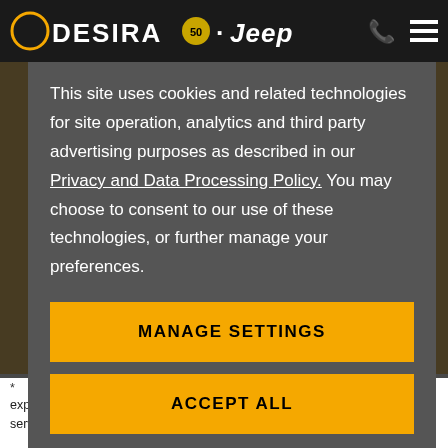DESIRA 50 · Jeep
This site uses cookies and related technologies for site operation, analytics and third party advertising purposes as described in our Privacy and Data Processing Policy. You may choose to consent to our use of these technologies, or further manage your preferences.
MANAGE SETTINGS
ACCEPT ALL
expiry of the three years or when the vehicle has had its first three scheduled services, whichever occurs first. Three year